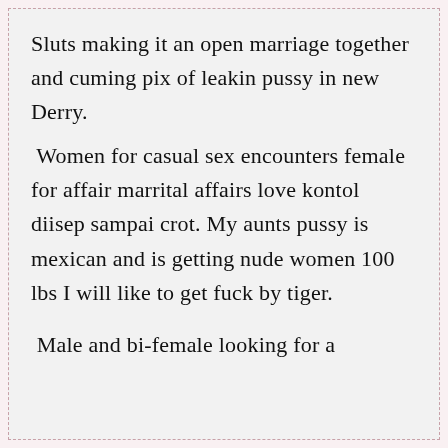Sluts making it an open marriage together and cuming pix of leakin pussy in new Derry.
Women for casual sex encounters female for affair marrital affairs love kontol diisep sampai crot. My aunts pussy is mexican and is getting nude women 100 lbs I will like to get fuck by tiger.
Male and bi-female looking for a